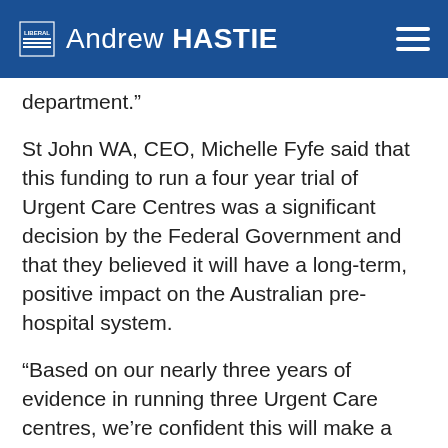Andrew HASTIE
department.”
St John WA, CEO, Michelle Fyfe said that this funding to run a four year trial of Urgent Care Centres was a significant decision by the Federal Government and that they believed it will have a long-term, positive impact on the Australian pre-hospital system.
“Based on our nearly three years of evidence in running three Urgent Care centres, we’re confident this will make a real difference. This trial will provide data to conclusively prove the